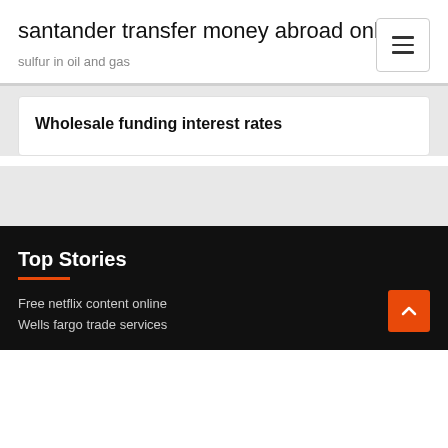santander transfer money abroad online
sulfur in oil and gas
Wholesale funding interest rates
Top Stories
Free netflix content online
Wells fargo trade services